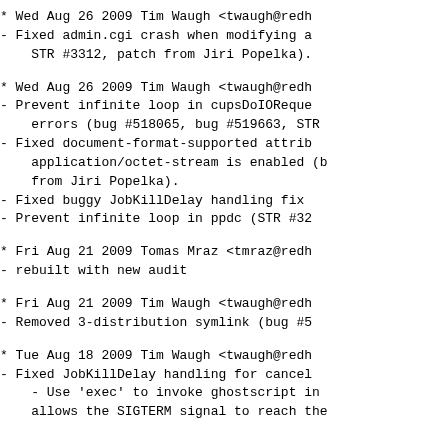* Wed Aug 26 2009 Tim Waugh <twaugh@redh
- Fixed admin.cgi crash when modifying a
    STR #3312, patch from Jiri Popelka).
* Wed Aug 26 2009 Tim Waugh <twaugh@redh
- Prevent infinite loop in cupsDoIOReque
    errors (bug #518065, bug #519663, STR
- Fixed document-format-supported attrib
    application/octet-stream is enabled (b
    from Jiri Popelka).
- Fixed buggy JobKillDelay handling fix
- Prevent infinite loop in ppdc (STR #32
* Fri Aug 21 2009 Tomas Mraz <tmraz@redh
- rebuilt with new audit
* Fri Aug 21 2009 Tim Waugh <twaugh@redh
- Removed 3-distribution symlink (bug #5
* Tue Aug 18 2009 Tim Waugh <twaugh@redh
- Fixed JobKillDelay handling for cancel
    - Use 'exec' to invoke ghostscript in
    allows the SIGTERM signal to reach the